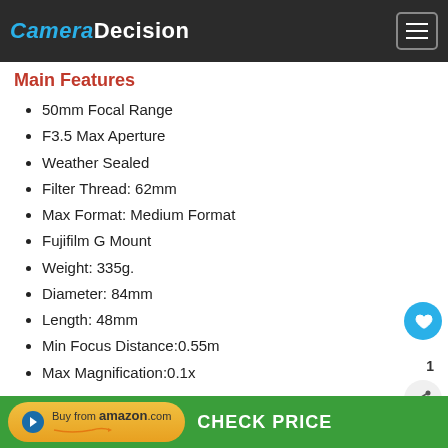Camera Decision
Main Features
50mm Focal Range
F3.5 Max Aperture
Weather Sealed
Filter Thread: 62mm
Max Format: Medium Format
Fujifilm G Mount
Weight: 335g.
Diameter: 84mm
Length: 48mm
Min Focus Distance:0.55m
Max Magnification:0.1x